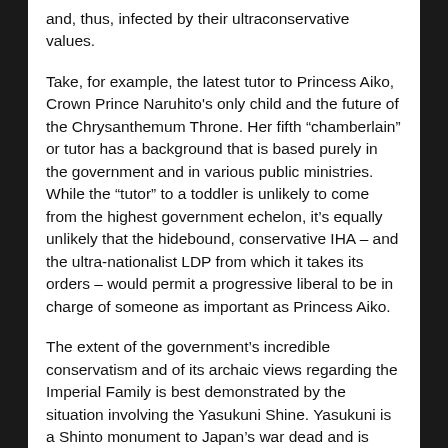and, thus, infected by their ultraconservative values.
Take, for example, the latest tutor to Princess Aiko, Crown Prince Naruhito’s only child and the future of the Chrysanthemum Throne. Her fifth “chamberlain” or tutor has a background that is based purely in the government and in various public ministries. While the “tutor” to a toddler is unlikely to come from the highest government echelon, it’s equally unlikely that the hidebound, conservative IHA – and the ultra-nationalist LDP from which it takes its orders – would permit a progressive liberal to be in charge of someone as important as Princess Aiko.
The extent of the government’s incredible conservatism and of its archaic views regarding the Imperial Family is best demonstrated by the situation involving the Yasukuni Shine. Yasukuni is a Shinto monument to Japan’s war dead and is closely linked to emperor worship and militarism. As recently as 2001, a new exhibit at the Shrine continued to espouse the revisionist line regarding